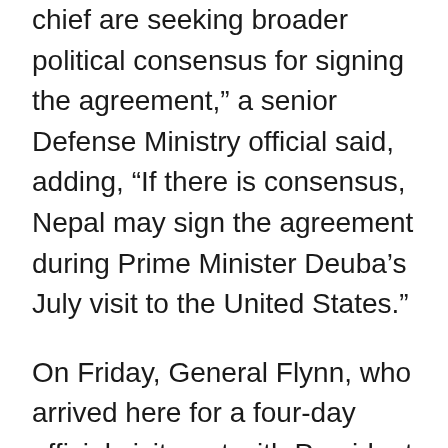chief are seeking broader political consensus for signing the agreement," a senior Defense Ministry official said, adding, "If there is consensus, Nepal may sign the agreement during Prime Minister Deuba's July visit to the United States."
On Friday, General Flynn, who arrived here for a four-day official visit, met with President Bidya Devi Bhandari, Prime Minister Deuba, and General Sharma, among others.
Since 2015, the U.S. has proposed that Nepal join the SPP, and in April, it sent a